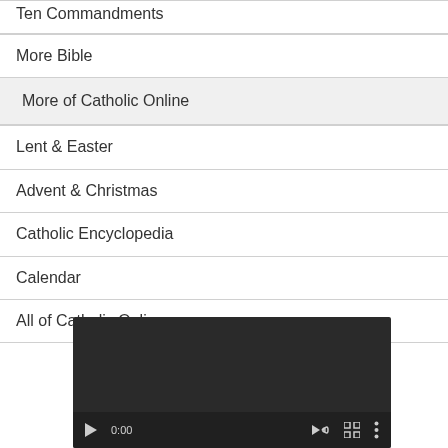Ten Commandments
More Bible
More of Catholic Online
Lent & Easter
Advent & Christmas
Catholic Encyclopedia
Calendar
All of Catholic Online
[Figure (screenshot): Video player with dark background and playback controls showing 0:00 timestamp, play button, volume icon, fullscreen icon, and more options icon]